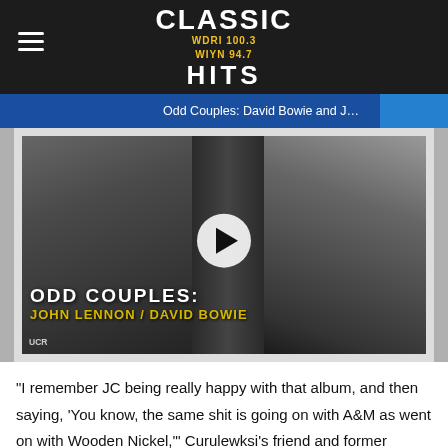CLASSIC HITS WDRI 100.3 WIYN 94.7
[Figure (screenshot): Video thumbnail showing John Lennon and David Bowie in black and white, with play button overlay and text 'ODD COUPLES: JOHN LENNON / DAVID BOWIE'. Video title bar reads 'Odd Couples: David Bowie and J...']
“I remember JC being really happy with that album, and then saying, ‘You know, the same shit is going on with A&M as went on with Wooden Nickel,’” Curulewksi’s friend and former roadie Charlie Piper said in Sterling Whitaker’s 2007 book The Grand Delusion: The Unauthorized True Story of Styx. Curulewski told Piper: “We’re not getting pushed, we’re not